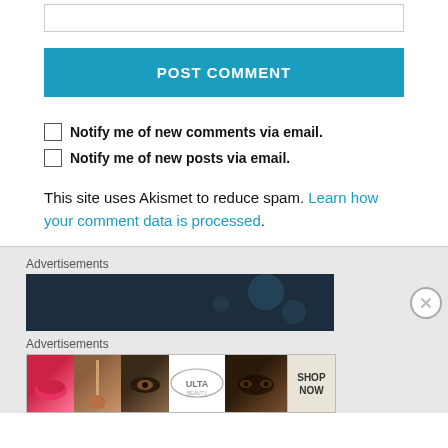[Figure (screenshot): Empty text input box at top of page]
[Figure (screenshot): Blue POST COMMENT button]
Notify me of new comments via email.
Notify me of new posts via email.
This site uses Akismet to reduce spam. Learn how your comment data is processed.
Advertisements
[Figure (screenshot): Dark navy advertisement banner]
Advertisements
[Figure (screenshot): Ulta Beauty advertisement strip with makeup images and SHOP NOW call to action]